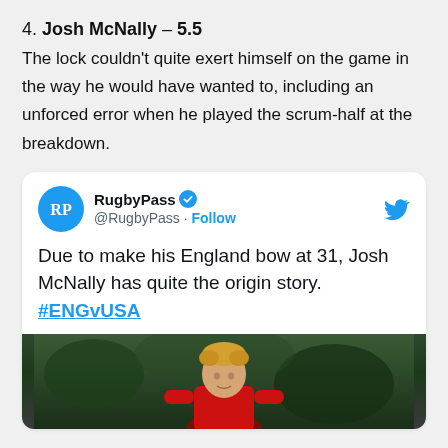4. Josh McNally – 5.5 The lock couldn't quite exert himself on the game in the way he would have wanted to, including an unforced error when he played the scrum-half at the breakdown.
[Figure (screenshot): Embedded tweet from @RugbyPass with verified badge. Tweet text: 'Due to make his England bow at 31, Josh McNally has quite the origin story. #ENGvUSA'. Includes a photo of Josh McNally in a red England rugby jersey against a green/dark background.]